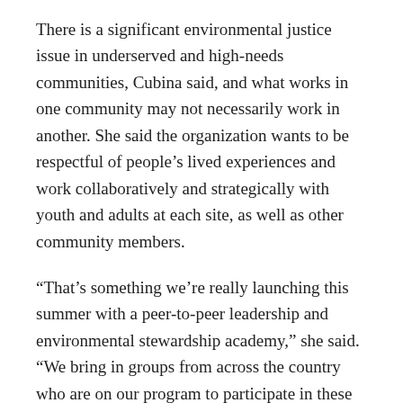There is a significant environmental justice issue in underserved and high-needs communities, Cubina said, and what works in one community may not necessarily work in another. She said the organization wants to be respectful of people's lived experiences and work collaboratively and strategically with youth and adults at each site, as well as other community members.
“That’s something we’re really launching this summer with a peer-to-peer leadership and environmental stewardship academy,” she said. “We bring in groups from across the country who are on our program to participate in these intense, week-long workshops.”
Mystic will also visit sites, such as the Wakeman Boys and Girls Club, with resources to help them learn about environmental issues and advocacy. .
James Murphy, character and leadership program director at